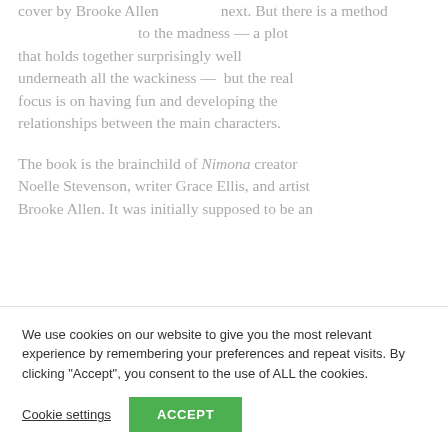cover by Brooke Allen next. But there is a method to the madness — a plot that holds together surprisingly well underneath all the wackiness —  but the real focus is on having fun and developing the relationships between the main characters.
The book is the brainchild of Nimona creator Noelle Stevenson, writer Grace Ellis, and artist Brooke Allen. It was initially supposed to be an
We use cookies on our website to give you the most relevant experience by remembering your preferences and repeat visits. By clicking "Accept", you consent to the use of ALL the cookies.
Cookie settings
ACCEPT